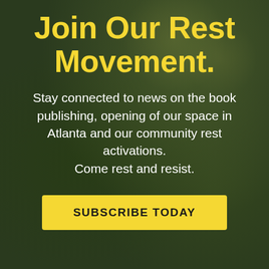Join Our Rest Movement.
Stay connected to news on the book publishing, opening of our space in Atlanta and our community rest activations. Come rest and resist.
SUBSCRIBE TODAY